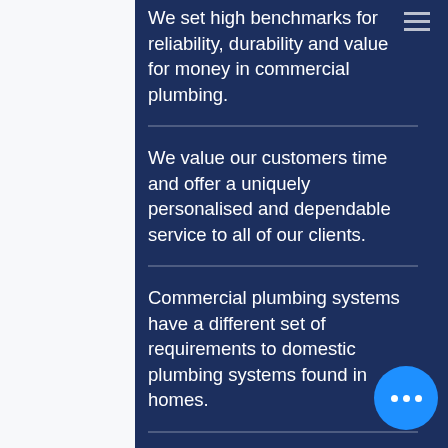We set high benchmarks for reliability, durability and value for money in commercial plumbing.
We value our customers time and offer a uniquely personalised and dependable service to all of our clients.
Commercial plumbing systems have a different set of requirements to domestic plumbing systems found in homes.
This is to meet strict state specific and Australian regulations to protect the safety of patrons and workers in public places and commercial